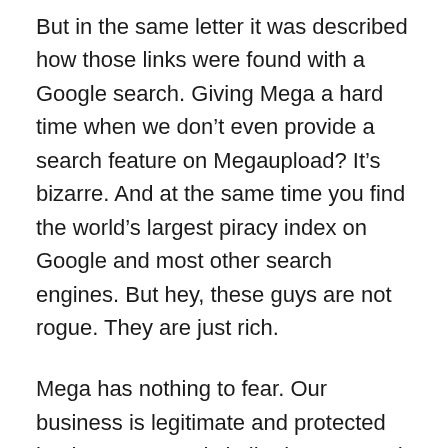But in the same letter it was described how those links were found with a Google search. Giving Mega a hard time when we don’t even provide a search feature on Megaupload? It’s bizarre. And at the same time you find the world’s largest piracy index on Google and most other search engines. But hey, these guys are not rogue. They are just rich.
Mega has nothing to fear. Our business is legitimate and protected by the DMCA and similar laws around the world. We work with the best lawyers and play by the rules. We take our legal obligations seriously. Mega’s war chest is full and we have strong supporters backing us. We have been online for 7